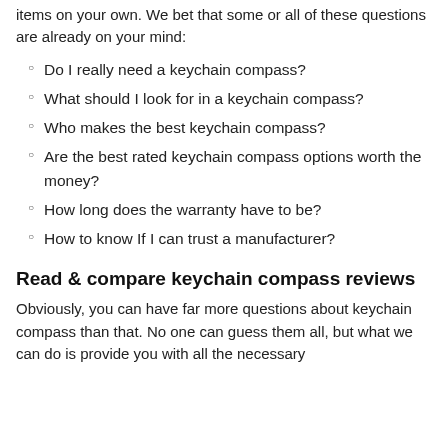items on your own. We bet that some or all of these questions are already on your mind:
Do I really need a keychain compass?
What should I look for in a keychain compass?
Who makes the best keychain compass?
Are the best rated keychain compass options worth the money?
How long does the warranty have to be?
How to know If I can trust a manufacturer?
Read & compare keychain compass reviews
Obviously, you can have far more questions about keychain compass than that. No one can guess them all, but what we can do is provide you with all the necessary